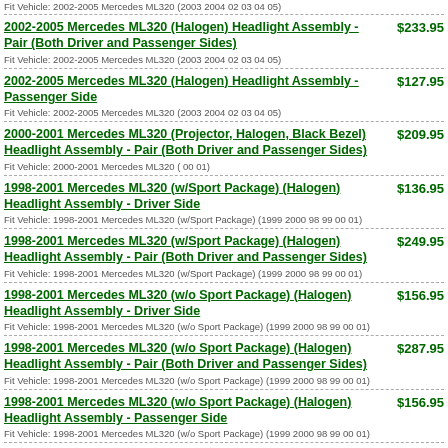Fit Vehicle: 2002-2005 Mercedes ML320 (2003 2004 02 03 04 05)
2002-2005 Mercedes ML320 (Halogen) Headlight Assembly - Pair (Both Driver and Passenger Sides) | $233.95 | Fit Vehicle: 2002-2005 Mercedes ML320 (2003 2004 02 03 04 05)
2002-2005 Mercedes ML320 (Halogen) Headlight Assembly - Passenger Side | $127.95 | Fit Vehicle: 2002-2005 Mercedes ML320 (2003 2004 02 03 04 05)
2000-2001 Mercedes ML320 (Projector, Halogen, Black Bezel) Headlight Assembly - Pair (Both Driver and Passenger Sides) | $209.95 | Fit Vehicle: 2000-2001 Mercedes ML320 ( 00 01)
1998-2001 Mercedes ML320 (w/Sport Package) (Halogen) Headlight Assembly - Driver Side | $136.95 | Fit Vehicle: 1998-2001 Mercedes ML320 (w/Sport Package) (1999 2000 98 99 00 01)
1998-2001 Mercedes ML320 (w/Sport Package) (Halogen) Headlight Assembly - Pair (Both Driver and Passenger Sides) | $249.95 | Fit Vehicle: 1998-2001 Mercedes ML320 (w/Sport Package) (1999 2000 98 99 00 01)
1998-2001 Mercedes ML320 (w/o Sport Package) (Halogen) Headlight Assembly - Driver Side | $156.95 | Fit Vehicle: 1998-2001 Mercedes ML320 (w/o Sport Package) (1999 2000 98 99 00 01)
1998-2001 Mercedes ML320 (w/o Sport Package) (Halogen) Headlight Assembly - Pair (Both Driver and Passenger Sides) | $287.95 | Fit Vehicle: 1998-2001 Mercedes ML320 (w/o Sport Package) (1999 2000 98 99 00 01)
1998-2001 Mercedes ML320 (w/o Sport Package) (Halogen) Headlight Assembly - Passenger Side | $156.95 | Fit Vehicle: 1998-2001 Mercedes ML320 (w/o Sport Package) (1999 2000 98 99 00 01)